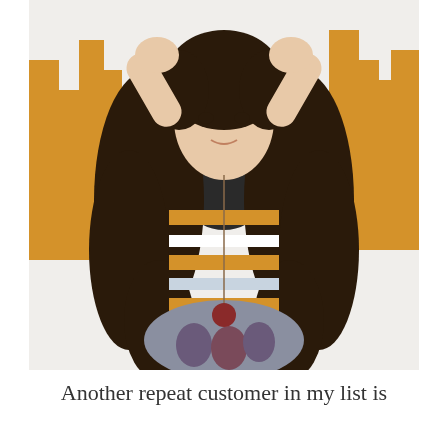[Figure (photo): A young woman with long dark curly hair, wearing a colorful patterned top with orange/gold and white horizontal brushstroke-style design and a floral skirt. She is posing with hands raised near her head against a white background with orange/gold painted cityscape silhouettes.]
Another repeat customer in my list is